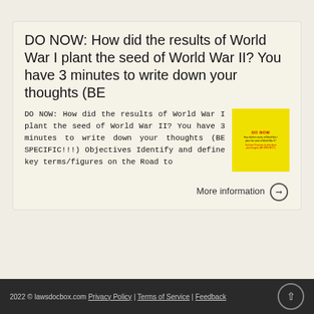DO NOW: How did the results of World War I plant the seed of World War II? You have 3 minutes to write down your thoughts (BE
DO NOW: How did the results of World War I plant the seed of World War II? You have 3 minutes to write down your thoughts (BE SPECIFIC!!!) Objectives Identify and define key terms/figures on the Road to
[Figure (screenshot): Yellow thumbnail image showing red text 'DO NOW' as heading and smaller black text repeating the World War I/II question prompt]
More information →
2022 © lawsdocbox.com Privacy Policy | Terms of Service | Feedback